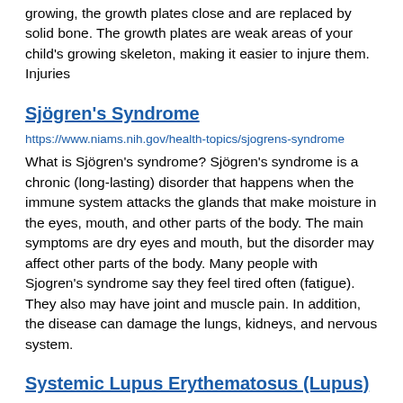growing, the growth plates close and are replaced by solid bone. The growth plates are weak areas of your child's growing skeleton, making it easier to injure them. Injuries
Sjögren's Syndrome
https://www.niams.nih.gov/health-topics/sjogrens-syndrome
What is Sjögren's syndrome? Sjögren's syndrome is a chronic (long-lasting) disorder that happens when the immune system attacks the glands that make moisture in the eyes, mouth, and other parts of the body. The main symptoms are dry eyes and mouth, but the disorder may affect other parts of the body. Many people with Sjogren's syndrome say they feel tired often (fatigue). They also may have joint and muscle pain. In addition, the disease can damage the lungs, kidneys, and nervous system.
Systemic Lupus Erythematosus (Lupus)
https://www.niams.nih.gov/health-topics/lupus
What is systemic lupus erythematosus (lupus)? Systemic lupus erythematosus (lupus) is a chronic (long-lasting) autoimmune disease that can affect many parts of the body, including the: Skin. Joints. Heart. Lungs. Kidneys. Brain. Lupus happens when the immune system, which normally helps protect the body from infection and disease, attacks its own tissues. This attack causes